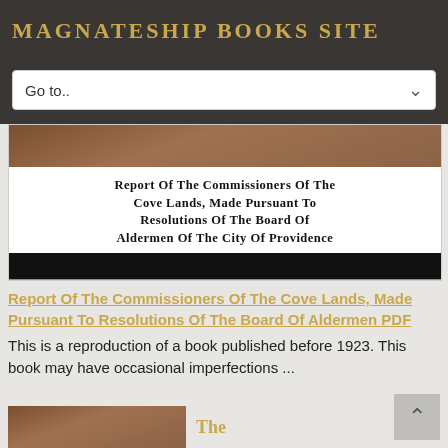MAGNATESHIP BOOKS SITE
Go to..
[Figure (illustration): Book cover image for 'Report of the Commissioners of the Cove Lands, Made Pursuant to Resolutions of the Board of Aldermen of the City of Providence' showing the title text on white background, a black bar, and a brown/terracotta section with the text 'Providence. Commissioners of the cove lands. [from old catalog]']
Report Of The Commissioners Of The Cove Lands, Made Pursuant To Resolutions Of The Board Of Aldermen PDF
This is a reproduction of a book published before 1923. This book may have occasional imperfections ...